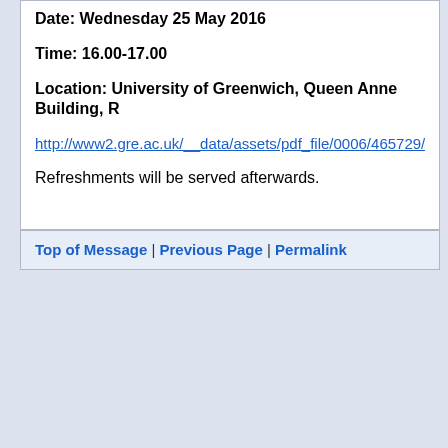Date: Wednesday 25 May 2016
Time: 16.00-17.00
Location: University of Greenwich, Queen Anne Building, R
http://www2.gre.ac.uk/__data/assets/pdf_file/0006/465729/Gre
Refreshments will be served afterwards.
Top of Message | Previous Page | Permalink